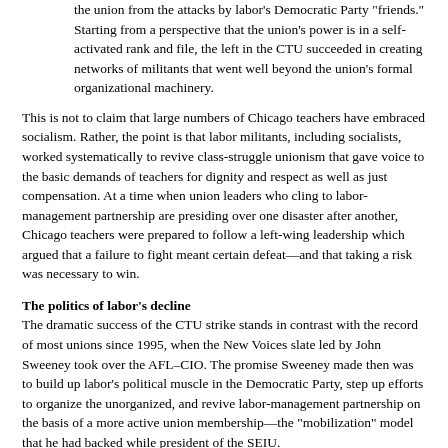the union from the attacks by labor's Democratic Party "friends." Starting from a perspective that the union's power is in a self-activated rank and file, the left in the CTU succeeded in creating networks of militants that went well beyond the union's formal organizational machinery.
This is not to claim that large numbers of Chicago teachers have embraced socialism. Rather, the point is that labor militants, including socialists, worked systematically to revive class-struggle unionism that gave voice to the basic demands of teachers for dignity and respect as well as just compensation. At a time when union leaders who cling to labor-management partnership are presiding over one disaster after another, Chicago teachers were prepared to follow a left-wing leadership which argued that a failure to fight meant certain defeat—and that taking a risk was necessary to win.
The politics of labor's decline
The dramatic success of the CTU strike stands in contrast with the record of most unions since 1995, when the New Voices slate led by John Sweeney took over the AFL–CIO. The promise Sweeney made then was to build up labor's political muscle in the Democratic Party, step up efforts to organize the unorganized, and revive labor-management partnership on the basis of a more active union membership—the "mobilization" model that he had backed while president of the SEIU.
The full employment economy did give labor some leverage in the early years of the Sweeney administration. Besides the popular and victorious UPS strike of 1997, workers won big strikes at Verizon's predecessor company and most of a series of local strikes in the auto industry. Organizing efforts slowed the decline in union membership and eventually